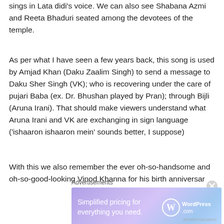sings in Lata didi's voice. We can also see Shabana Azmi and Reeta Bhaduri seated among the devotees of the temple.
As per what I have seen a few years back, this song is used by Amjad Khan (Daku Zaalim Singh) to send a message to Daku Sher Singh (VK); who is recovering under the care of pujari Baba (ex. Dr. Bhushan played by Pran); through Bijli (Aruna Irani). That should make viewers understand what Aruna Irani and VK are exchanging in sign language ('ishaaron ishaaron mein' sounds better, I suppose)
With this we also remember the ever oh-so-handsome and oh-so-good-looking Vinod Khanna for his birth anniversary
Advertisements
[Figure (other): WordPress.com advertisement banner: 'Simplified pricing for everything you need.' with WordPress.com logo]